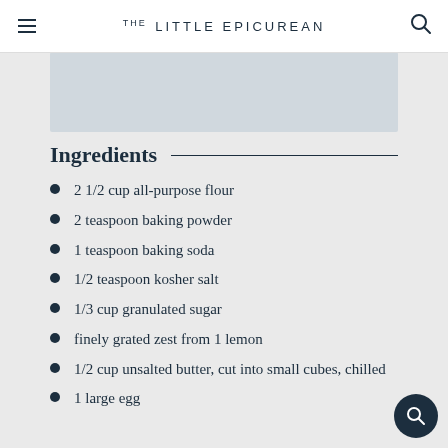THE LITTLE EPICUREAN
Ingredients
2 1/2 cup all-purpose flour
2 teaspoon baking powder
1 teaspoon baking soda
1/2 teaspoon kosher salt
1/3 cup granulated sugar
finely grated zest from 1 lemon
1/2 cup unsalted butter, cut into small cubes, chilled
1 large egg